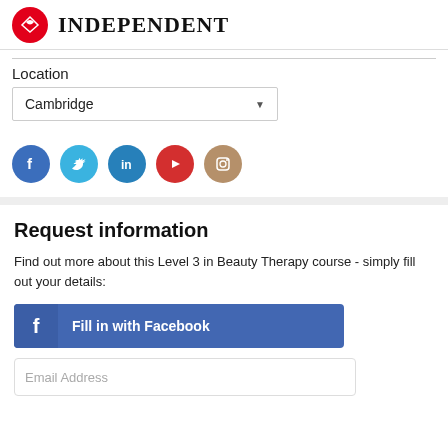INDEPENDENT
Location
Cambridge
[Figure (infographic): Social media icon row: Facebook (blue), Twitter (light blue), LinkedIn (blue), YouTube (red), Instagram (tan/brown)]
Request information
Find out more about this Level 3 in Beauty Therapy course - simply fill out your details:
Fill in with Facebook
Email Address